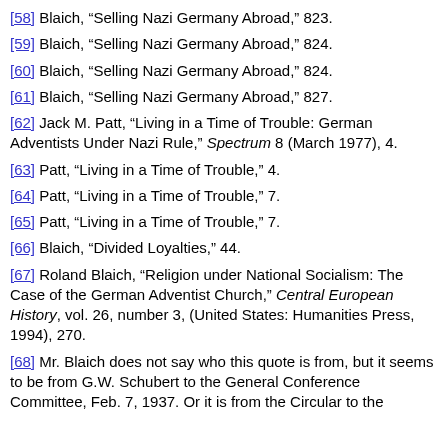[58] Blaich, “Selling Nazi Germany Abroad,” 823.
[59] Blaich, “Selling Nazi Germany Abroad,” 824.
[60] Blaich, “Selling Nazi Germany Abroad,” 824.
[61] Blaich, “Selling Nazi Germany Abroad,” 827.
[62] Jack M. Patt, “Living in a Time of Trouble: German Adventists Under Nazi Rule,” Spectrum 8 (March 1977), 4.
[63] Patt, “Living in a Time of Trouble,” 4.
[64] Patt, “Living in a Time of Trouble,” 7.
[65] Patt, “Living in a Time of Trouble,” 7.
[66] Blaich, “Divided Loyalties,” 44.
[67] Roland Blaich, “Religion under National Socialism: The Case of the German Adventist Church,” Central European History, vol. 26, number 3, (United States: Humanities Press, 1994), 270.
[68] Mr. Blaich does not say who this quote is from, but it seems to be from G.W. Schubert to the General Conference Committee, Feb. 7, 1937. Or it is from the Circular to the